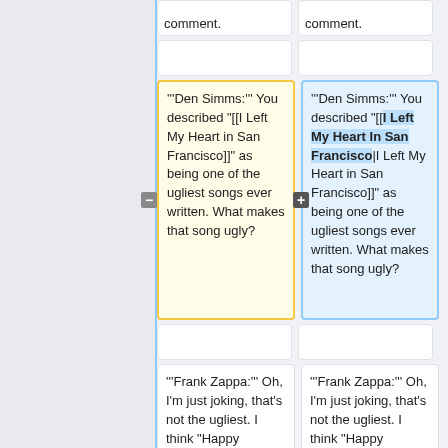comment.
comment.
'''Den Simms:''' You described "[[I Left My Heart in San Francisco]]" as being one of the ugliest songs ever written. What makes that song ugly?
'''Den Simms:''' You described "[[I Left My Heart In San Francisco|I Left My Heart in San Francisco]]" as being one of the ugliest songs ever written. What makes that song ugly?
'''Frank Zappa:''' Oh, I'm just joking, that's not the ugliest. I think "Happy
'''Frank Zappa:''' Oh, I'm just joking, that's not the ugliest. I think "Happy